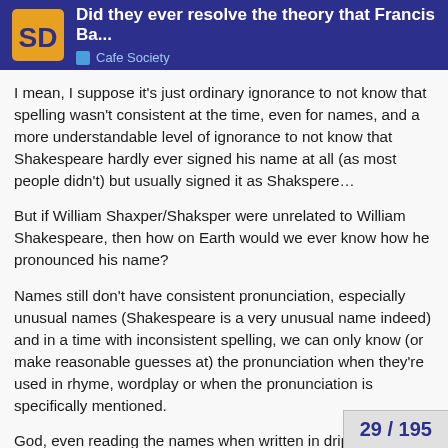Did they ever resolve the theory that Francis Ba... | Cafe Society
I mean, I suppose it's just ordinary ignorance to not know that spelling wasn't consistent at the time, even for names, and a more understandable level of ignorance to not know that Shakespeare hardly ever signed his name at all (as most people didn't) but usually signed it as Shakspere…
But if William Shaxper/Shaksper were unrelated to William Shakespeare, then how on Earth would we ever know how he pronounced his name?
Names still don't have consistent pronunciation, especially unusual names (Shakespeare is a very unusual name indeed) and in a time with inconsistent spelling, we can only know (or make reasonable guesses at) the pronunciation when they're used in rhyme, wordplay or when the pronunciation is specifically mentioned.
God, even reading the names when written in drippy quill-impelled ink as a signature (and signatures are less straightforward than other written words) d
29 / 195